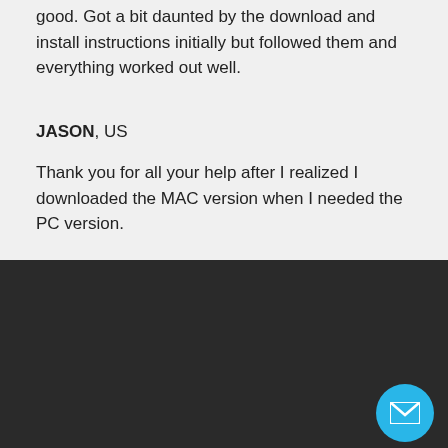good. Got a bit daunted by the download and install instructions initially but followed them and everything worked out well.
JASON, US
Thank you for all your help after I realized I downloaded the MAC version when I needed the PC version.
[Figure (infographic): Three white circular social media icons on dark background: Twitter bird, Google+, and Facebook f]
[Figure (logo): Think Green logo with a green leaf and arc text reading THINK GREEN]
[Figure (infographic): Cyan circular email/envelope button in bottom right corner]